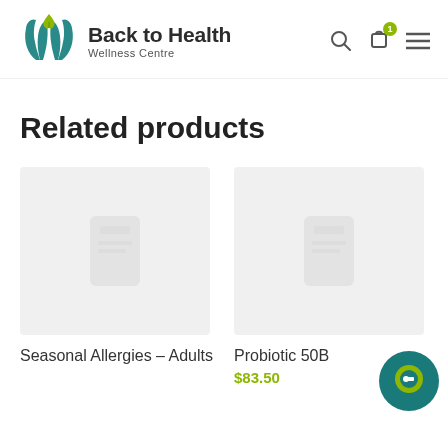[Figure (logo): Back to Health Wellness Centre logo with teal hands and green leaf]
Related products
[Figure (photo): Product image placeholder for Seasonal Allergies – Adults]
Seasonal Allergies – Adults
[Figure (photo): Product image placeholder for Probiotic 50B]
Probiotic 50B
$83.50